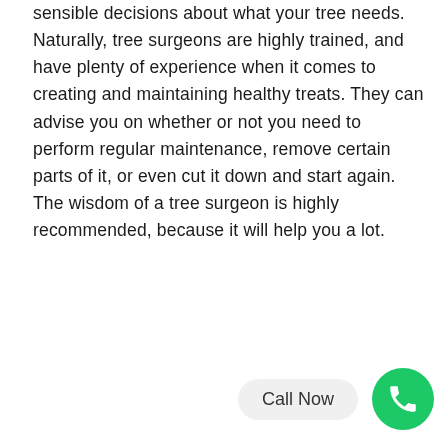sensible decisions about what your tree needs. Naturally, tree surgeons are highly trained, and have plenty of experience when it comes to creating and maintaining healthy treats. They can advise you on whether or not you need to perform regular maintenance, remove certain parts of it, or even cut it down and start again. The wisdom of a tree surgeon is highly recommended, because it will help you a lot.
Call Now